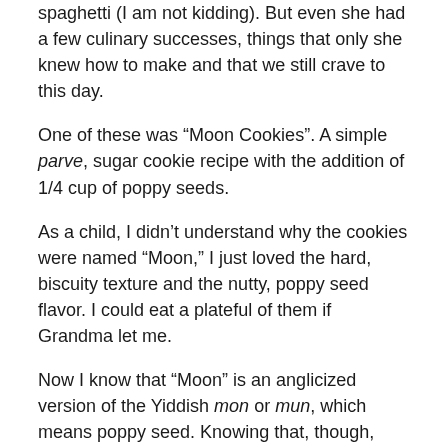spaghetti (I am not kidding). But even she had a few culinary successes, things that only she knew how to make and that we still crave to this day.
One of these was “Moon Cookies”. A simple parve, sugar cookie recipe with the addition of 1/4 cup of poppy seeds.
As a child, I didn’t understand why the cookies were named “Moon,” I just loved the hard, biscuity texture and the nutty, poppy seed flavor. I could eat a plateful of them if Grandma let me.
Now I know that “Moon” is an anglicized version of the Yiddish mon or mun, which means poppy seed. Knowing that, though, doesn’t take any of the magic away.
~~~~~~~~~~~~~~~~~~~~~~~~~~~~~~~~
Martha’s Moon Cookies